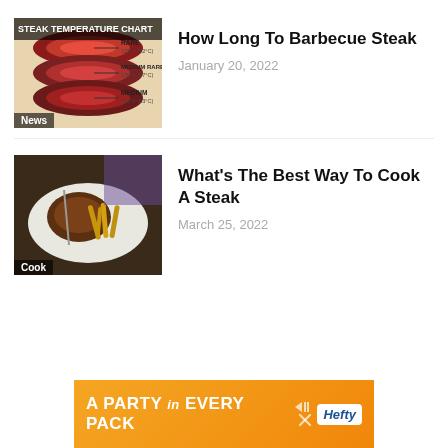[Figure (photo): Steak temperature chart infographic showing sliced steak with labels: RARE 125°F (52°C), MEDIUM RARE 135°F (57°C), MEDIUM 145°F (63°C)]
How Long To Barbecue Steak
January 20, 2022
[Figure (photo): Photo of a cooked steak with fries on a plate, with a fork visible]
What's The Best Way To Cook A Steak
March 25, 2022
[Figure (infographic): Hefty advertisement banner: A PARTY in EVERY PACK with Hefty logo]